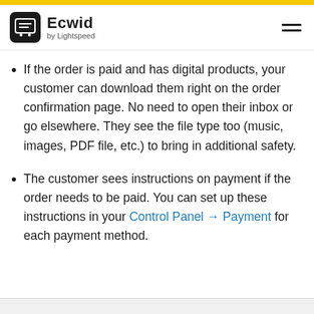Ecwid by Lightspeed
If the order is paid and has digital products, your customer can download them right on the order confirmation page. No need to open their inbox or go elsewhere. They see the file type too (music, images, PDF file, etc.) to bring in additional safety.
The customer sees instructions on payment if the order needs to be paid. You can set up these instructions in your Control Panel → Payment for each payment method.